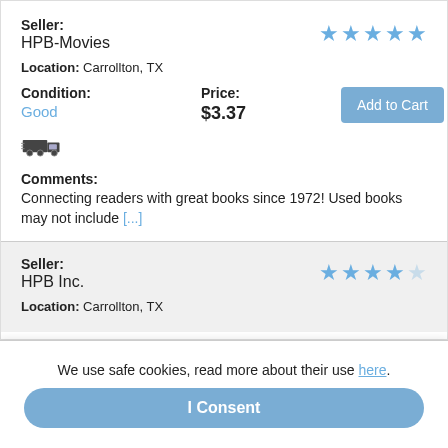Seller: HPB-Movies
Location: Carrollton, TX
Condition: Good
Price: $3.37
Add to Cart
[Figure (illustration): Truck/shipping icon]
Comments: Connecting readers with great books since 1972! Used books may not include [...]
Seller: HPB Inc.
Location: Carrollton, TX
We use safe cookies, read more about their use here.
I Consent